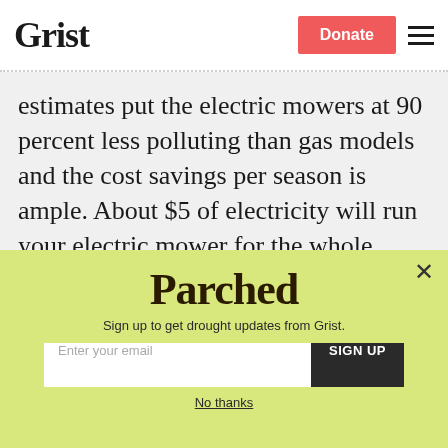Grist | Donate | Menu
estimates put the electric mowers at 90 percent less polluting than gas models and the cost savings per season is ample. About $5 of electricity will run your electric mower for the whole season on a third-acre lawn that would otherwise require about $40 to $50 in gas and oil.
[Figure (other): Popup newsletter signup for 'Parched' newsletter from Grist. Yellow-green background with 'Parched' logo text, subtitle 'Sign up to get drought updates from Grist.', email input field, 'SIGN UP' button, and 'No thanks' link. Close X button in top right.]